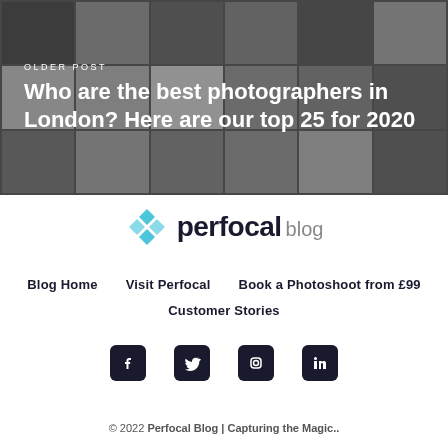[Figure (photo): Hero background image collage of black and white portrait photographers, with text overlay]
OLDER POST
Who are the best photographers in London? Here are our top 25 for 2020
[Figure (logo): Perfocal blog logo with teal/blue icon and text]
Blog Home
Visit Perfocal
Book a Photoshoot from £99
Customer Stories
[Figure (other): Social media icons: Facebook, Twitter, Instagram, LinkedIn]
© 2022 Perfocal Blog | Capturing the Magic..